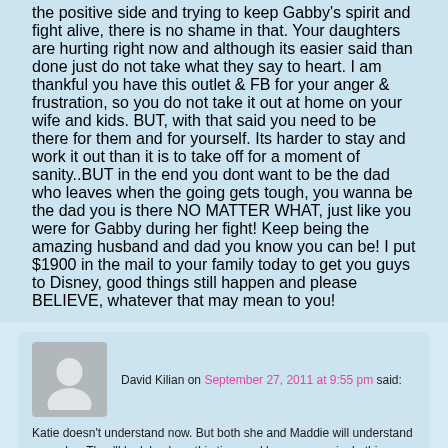the positive side and trying to keep Gabby's spirit and fight alive, there is no shame in that. Your daughters are hurting right now and although its easier said than done just do not take what they say to heart. I am thankful you have this outlet & FB for your anger & frustration, so you do not take it out at home on your wife and kids. BUT, with that said you need to be there for them and for yourself. Its harder to stay and work it out than it is to take off for a moment of sanity..BUT in the end you dont want to be the dad who leaves when the going gets tough, you wanna be the dad you is there NO MATTER WHAT, just like you were for Gabby during her fight! Keep being the amazing husband and dad you know you can be! I put $1900 in the mail to your family today to get you guys to Disney, good things still happen and please BELIEVE, whatever that may mean to you!
David Kilian on September 27, 2011 at 9:55 pm said:
Katie doesn't understand now. But both she and Maddie will understand someday. They'll look back on this time and know every single thing you said to them was because you love them. It wasn't a lie because you believed it to be true. But Katie is young and confused and trying to understand something that she has no business trying to understand at her age.